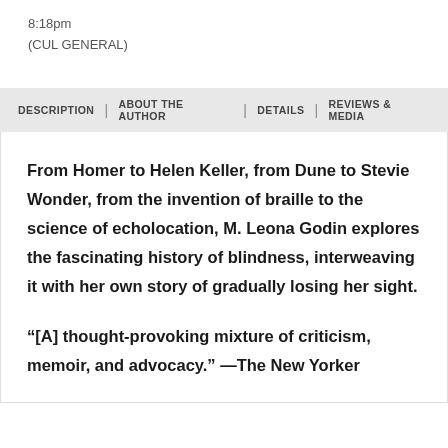8:18pm
(CUL GENERAL)
DESCRIPTION | ABOUT THE AUTHOR | DETAILS | REVIEWS & MEDIA
From Homer to Helen Keller, from Dune to Stevie Wonder, from the invention of braille to the science of echolocation, M. Leona Godin explores the fascinating history of blindness, interweaving it with her own story of gradually losing her sight.
“[A] thought-provoking mixture of criticism, memoir, and advocacy.” —The New Yorker